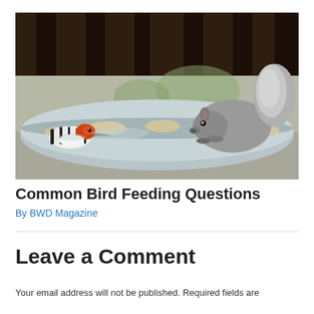[Figure (photo): A red-bellied woodpecker and a gray squirrel at a bird feeder filled with seeds, on a wooden deck railing. The woodpecker is on the left with a bright orange-red head and black-and-white striped back. The squirrel is on the right, sniffing the seed pile.]
Common Bird Feeding Questions
By BWD Magazine
Leave a Comment
Your email address will not be published. Required fields are